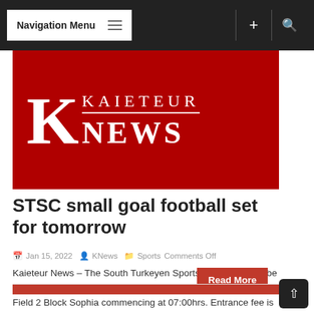Navigation Menu
[Figure (logo): Kaieteur News logo: large white K with KAIETEUR NEWS text on red background]
STSC small goal football set for tomorrow
Jan 15, 2022  KNews  Sports Comments Off
Kaieteur News – The South Turkeyen Sports Committee will be hosting a 3-a-side small goal football competition tomorrow at C Field 2 Block Sophia commencing at 07:00hrs. Entrance fee is $3,000...
Read More